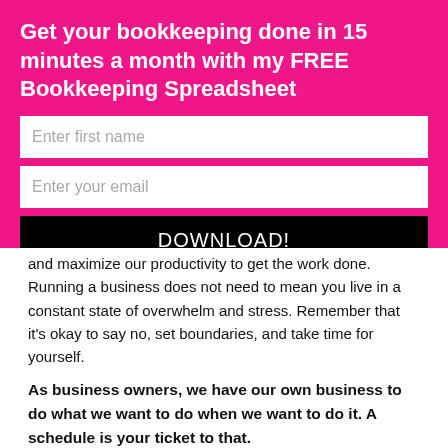Get your bookkeeping done in 15 minutes a month with my FREE Bookkeeping Spreadsheet
[Figure (screenshot): Email signup form with 'Enter first name' input, 'Enter your email' input, and a black 'DOWNLOAD!' button on a pink/magenta background. A close (X) button is in the top right corner.]
and maximize our productivity to get the work done. Running a business does not need to mean you live in a constant state of overwhelm and stress. Remember that it's okay to say no, set boundaries, and take time for yourself.
As business owners, we have our own business to do what we want to do when we want to do it. A schedule is your ticket to that.
If you need help scheduling or creating systems to